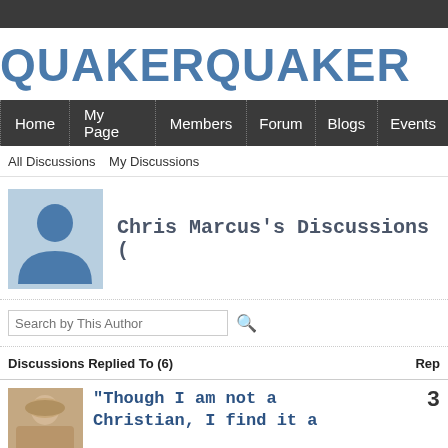QUAKERQUAKER
Home  My Page  Members  Forum  Blogs  Events
All Discussions  My Discussions
[Figure (illustration): User avatar silhouette placeholder in blue-grey]
Chris Marcus's Discussions (
Search by This Author
Discussions Replied To (6)  Rep
[Figure (photo): Small profile photo of a person with blonde/brown hair]
"Though I am not a Christian, I find it a
3